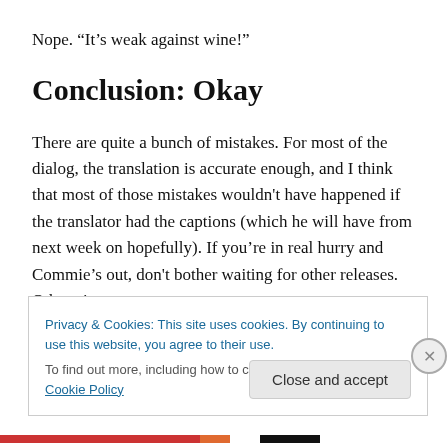Nope. “It’s weak against wine!”
Conclusion: Okay
There are quite a bunch of mistakes. For most of the dialog, the translation is accurate enough, and I think that most of those mistakes wouldn’t have happened if the translator had the captions (which he will have from next week on hopefully). If you’re in real hurry and Commie’s out, don’t bother waiting for other releases. Otherwise,
Privacy & Cookies: This site uses cookies. By continuing to use this website, you agree to their use.
To find out more, including how to control cookies, see here: Cookie Policy